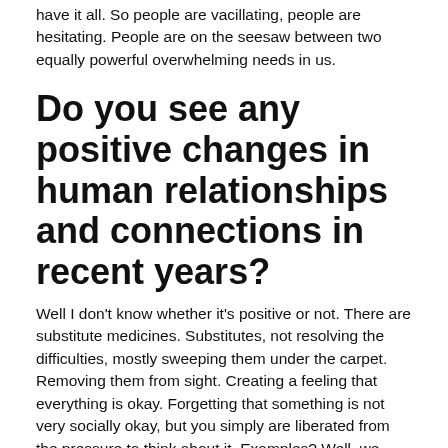have it all. So people are vacillating, people are hesitating. People are on the seesaw between two equally powerful overwhelming needs in us.
Do you see any positive changes in human relationships and connections in recent years?
Well I don't know whether it's positive or not. There are substitute medicines. Substitutes, not resolving the difficulties, mostly sweeping them under the carpet. Removing them from sight. Creating a feeling that everything is okay. Forgetting that something is not very socially okay, but you simply are liberated from the pressure to think about it. Examples? Well, we mentioned Facebook. We mentioned Twitter. There's a great, great invention.
You remember the Walkman? You remember how the Walkman was introduced into the market? What was the slogan? The slogan was 'never again alone'. Never again alone. For the first time, we could go into the forest alone, walk on a meadow somewhere far